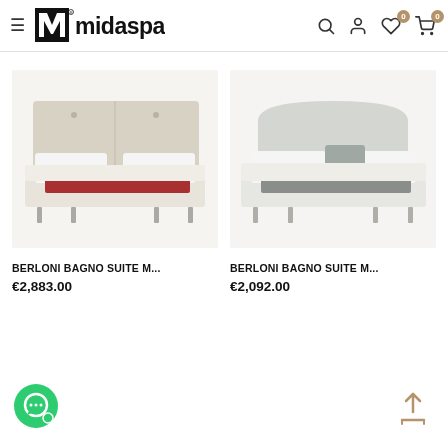midaspace — navigation header with logo, search, account, wishlist (0), cart (0) icons
[Figure (photo): Berloni Bagno Suite bed with beige upholstered headboard and red throw blanket]
[Figure (photo): Berloni Bagno Suite bed with light grey curved headboard and grey throw blanket]
BERLONI BAGNO SUITE M...
€2,883.00
BERLONI BAGNO SUITE M...
€2,092.00